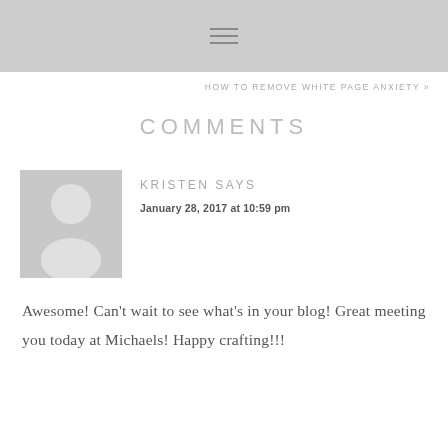≡
HOW TO REMOVE WHITE PAGE ANXIETY »
COMMENTS
[Figure (illustration): Gray silhouette avatar placeholder image of a generic person]
KRISTEN SAYS
January 28, 2017 at 10:59 pm
Awesome! Can't wait to see what's in your blog! Great meeting you today at Michaels! Happy crafting!!!